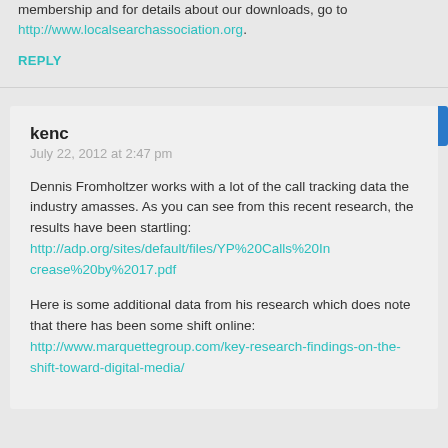membership and for details about our downloads, go to http://www.localsearchassociation.org.
REPLY
kenc
July 22, 2012 at 2:47 pm
Dennis Fromholtzer works with a lot of the call tracking data the industry amasses. As you can see from this recent research, the results have been startling: http://adp.org/sites/default/files/YP%20Calls%20Increase%20by%2017.pdf
Here is some additional data from his research which does note that there has been some shift online: http://www.marquettegroup.com/key-research-findings-on-the-shift-toward-digital-media/